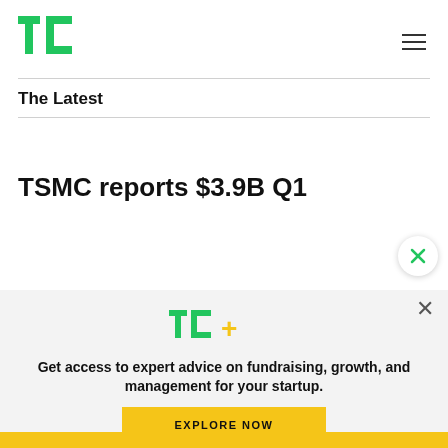TechCrunch logo and navigation
The Latest
TSMC reports $3.9B Q1
[Figure (screenshot): TechCrunch+ subscription modal overlay with TC+ logo, text 'Get access to expert advice on fundraising, growth, and management for your startup.' and 'EXPLORE NOW' yellow button]